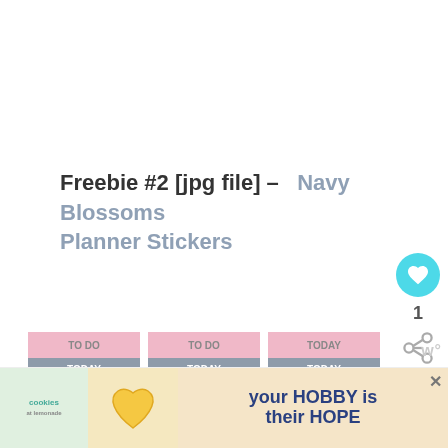Freebie #2 [jpg file] –   Navy Blossoms Planner Stickers
[Figure (illustration): Planner sticker sheet with navy and pink chevron and heart designs, including TO DO, TODAY, and LITTLE THINGS labels]
[Figure (other): What's Next overlay with smiley emoji and text 'February Project Life...']
[Figure (infographic): Advertisement banner: cookies & lemonade logo, heart-shaped cookie photo, text 'your HOBBY is their HOPE']